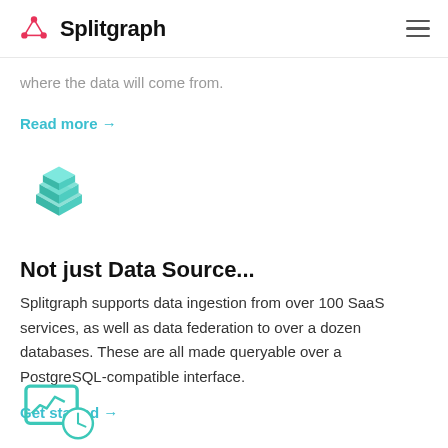Splitgraph
where the data will come from.
Read more →
[Figure (illustration): 3D isometric icon of stacked data blocks/layers in teal/mint color]
Not just Data Source...
Splitgraph supports data ingestion from over 100 SaaS services, as well as data federation to over a dozen databases. These are all made queryable over a PostgreSQL-compatible interface.
Get started →
[Figure (illustration): Teal icon showing a monitor/chart with a clock, representing data monitoring]